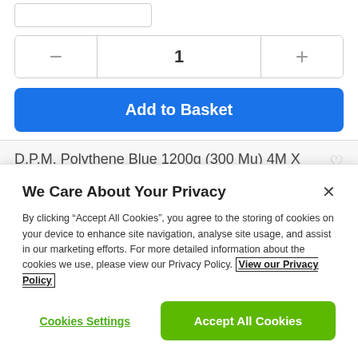[Figure (screenshot): Quantity stepper with minus button, number 1, and plus button]
[Figure (screenshot): Blue 'Add to Basket' button]
D.P.M. Polythene Blue 1200g (300 Mu) 4M X 25M Roll
We Care About Your Privacy
By clicking "Accept All Cookies", you agree to the storing of cookies on your device to enhance site navigation, analyse site usage, and assist in our marketing efforts. For more detailed information about the cookies we use, please view our Privacy Policy. View our Privacy Policy
Cookies Settings
Accept All Cookies